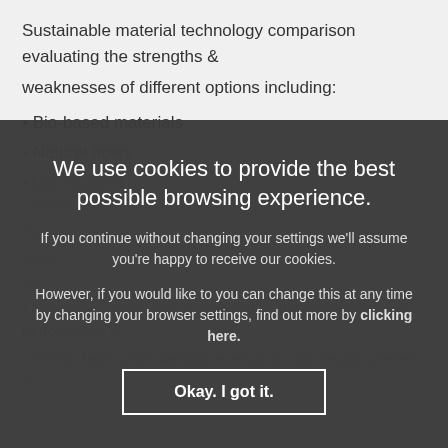Sustainable material technology comparison evaluating the strengths &

weaknesses of different options including:
• Bio-based materials
• Natural fibers
• Manufactured / processed...
• Polymer based...
• Aluminium: Virgin versus recycled — the implication costs performance ...
• OTEC: How small alterations may result in releasing levels of...
We use cookies to provide the best possible browsing experience.
If you continue without changing your settings we'll assume you're happy to receive our cookies.
However, if you would like to you can change this at any time by changing your browser settings, find out more by clicking here.
Okay. I got it.